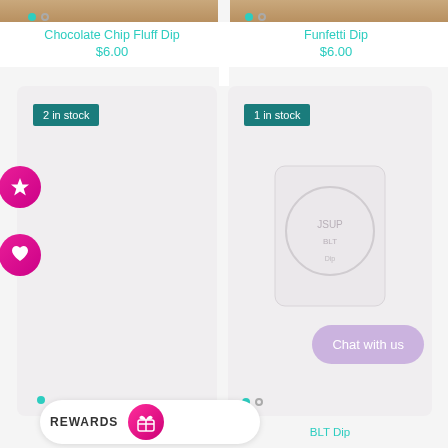[Figure (screenshot): Top portion of two product image cards partially cropped at top]
Chocolate Chip Fluff Dip
$6.00
Funfetti Dip
$6.00
[Figure (photo): Left product card with '2 in stock' badge, star icon and heart icon on left side, empty light gray card]
[Figure (photo): Right product card with '1 in stock' badge, showing a packaged BLT Dip product with logo visible]
2 in stock
1 in stock
Chat with us
BLT Dip
REWARDS